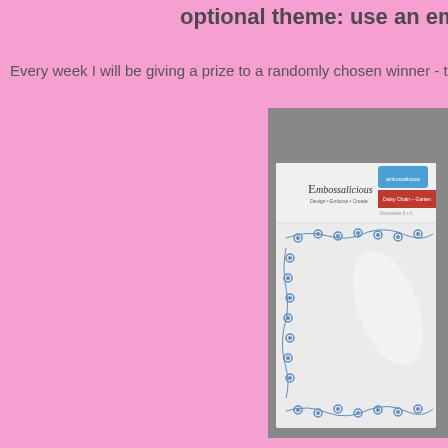optional theme: use an em
Every week I will be giving a prize to a randomly chosen winner - this
[Figure (photo): Product photo of an Embossalicious embossing folder showing a daisy chain floral border pattern on a white folder, partially visible against a gray textured background. The packaging shows the brand name 'Embossalicious' with subtitle 'Design • Emboss • Create' and a red label reading 'Daisy Chain - Garten' with additional text 'Decorative 5 x 6'.]